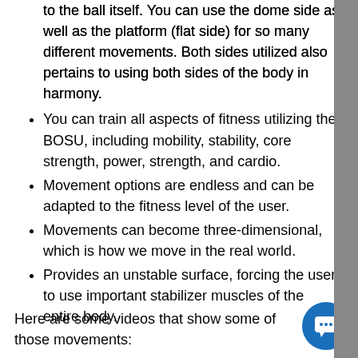to the ball itself. You can use the dome side as well as the platform (flat side) for so many different movements. Both sides utilized also pertains to using both sides of the body in harmony.
You can train all aspects of fitness utilizing the BOSU, including mobility, stability, core strength, power, strength, and cardio.
Movement options are endless and can be adapted to the fitness level of the user.
Movements can become three-dimensional, which is how we move in the real world.
Provides an unstable surface, forcing the user to use important stabilizer muscles of the entire body.
Here are some videos that show some of those movements: